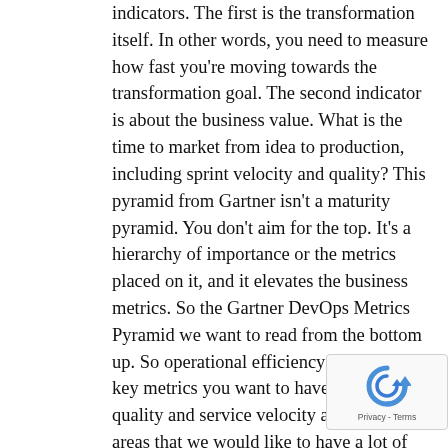indicators. The first is the transformation itself. In other words, you need to measure how fast you're moving towards the transformation goal. The second indicator is about the business value. What is the time to market from idea to production, including sprint velocity and quality? This pyramid from Gartner isn't a maturity pyramid. You don't aim for the top. It's a hierarchy of importance or the metrics placed on it, and it elevates the business metrics. So the Gartner DevOps Metrics Pyramid we want to read from the bottom up. So operational efficiency is one of the key metrics you want to have. Service quality and service velocity are the other areas that we would like to have a lot of focus on. Organizational effectiveness is the area that can drive more business effectiveness. Customer value is always a key metric. And our business performance. Ultimately our DevOps pyramid should inform and drive business
[Figure (other): Google reCAPTCHA badge with circular arrow logo and Privacy - Terms text]